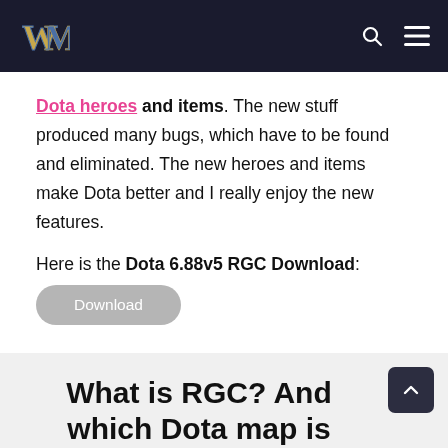WM logo navigation bar with search and menu icons
Dota heroes and items. The new stuff produced many bugs, which have to be found and eliminated. The new heroes and items make Dota better and I really enjoy the new features.
Here is the Dota 6.88v5 RGC Download:
Download
What is RGC? And which Dota map is